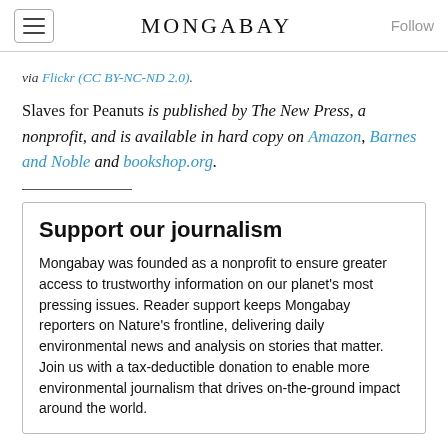MONGABAY
via Flickr (CC BY-NC-ND 2.0).
Slaves for Peanuts is published by The New Press, a nonprofit, and is available in hard copy on Amazon, Barnes and Noble and bookshop.org.
Support our journalism
Mongabay was founded as a nonprofit to ensure greater access to trustworthy information on our planet's most pressing issues. Reader support keeps Mongabay reporters on Nature's frontline, delivering daily environmental news and analysis on stories that matter. Join us with a tax-deductible donation to enable more environmental journalism that drives on-the-ground impact around the world.